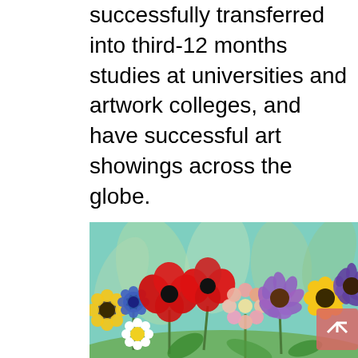successfully transferred into third-12 months studies at universities and artwork colleges, and have successful art showings across the globe.
Interview instances are chosen as part of the QUT Visible Arts Online Registration Kind course of. They consider the arts instruction as instructor-oriented initiatives used to entertain or train different disciplines   (Berghoff, 2003, p. 12). Examine the Retailer for resources to assist the instructing of Core Knowledge subjects in Visible Arts.
[Figure (illustration): Colorful painting of wildflowers including red poppies, blue cornflowers, yellow black-eyed Susans, white daisies, and purple coneflowers against a teal/green background.]